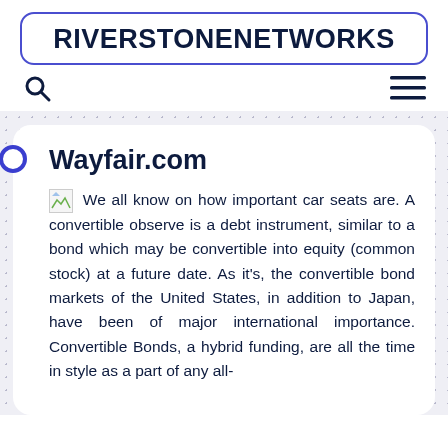RIVERSTONENETWORKS
[Figure (logo): Search icon (magnifying glass) on the left and hamburger menu icon on the right]
Wayfair.com
We all know on how important car seats are. A convertible observe is a debt instrument, similar to a bond which may be convertible into equity (common stock) at a future date. As it's, the convertible bond markets of the United States, in addition to Japan, have been of major international importance. Convertible Bonds, a hybrid funding, are all the time in style as a part of any all-